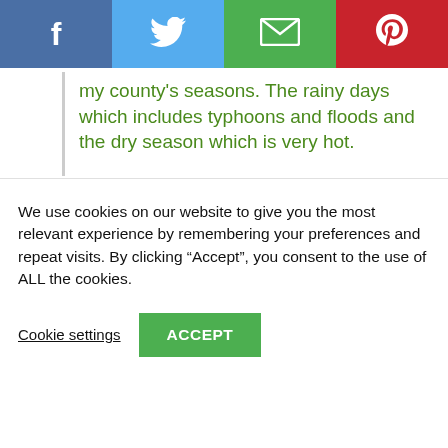[Figure (other): Social sharing bar with Facebook (blue), Twitter (light blue), Email (green), and Pinterest (red) buttons with white icons]
my county's seasons. The rainy days which includes typhoons and floods and the dry season which is very hot.

I have compared your shown designs of greenhouses and those from my country, those from Greenhouse Emporium looks more sturdy and can sustain our climate condition.
We use cookies on our website to give you the most relevant experience by remembering your preferences and repeat visits. By clicking “Accept”, you consent to the use of ALL the cookies.
Cookie settings  ACCEPT